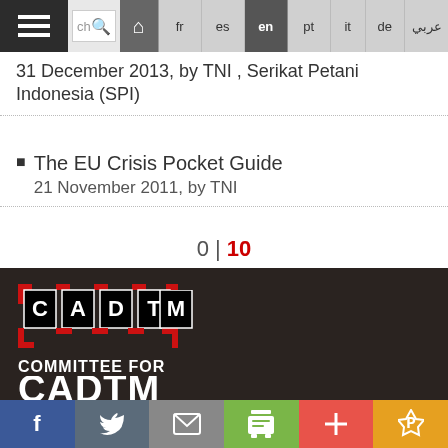Navigation bar with hamburger menu, search, home, fr, es, en (active), pt, it, de, arabic
31 December 2013, by TNI , Serikat Petani Indonesia (SPI)
The EU Crisis Pocket Guide
21 November 2011, by TNI
0 | 10
[Figure (logo): CADTM logo: red square brackets with letters C A D T M in black squares on dark background]
CADTM
COMMITTEE FOR
Social share bar: Facebook, Twitter, Email, Print, Plus, Pinterest